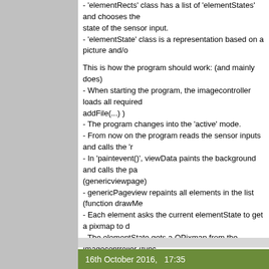- 'elementRects' class has a list of 'elementStates' and chooses the state of the sensor input. - 'elementState' class is a representation based on a picture and/o
This is how the program should work: (and mainly does) - When starting the program, the imagecontroller loads all required addFile(...) ) - The program changes into the 'active' mode. - From now on the program reads the sensor inputs and calls the 'r - In 'paintevent()', viewData paints the background and calls the pa (genericviewpage) - genericPageview repaints all elements in the list (function drawMe - Each element asks the current elementState to get a pixmap to d - The elementState gets a QPixmap from the Imagecontroller (func into the required sized qpixmap. If necessary it writes text into it an
This paint process seems to use more and more graphical memory end up with not loading images after some hours and eventually a I've tried several ways to get the issue fixed but didn't get it. So I w have a second look and let me know, what am I doing wrong here?
Thanks a lot. Oh, and please let me know, which information you w
Dirk
16th October 2016,   17:35